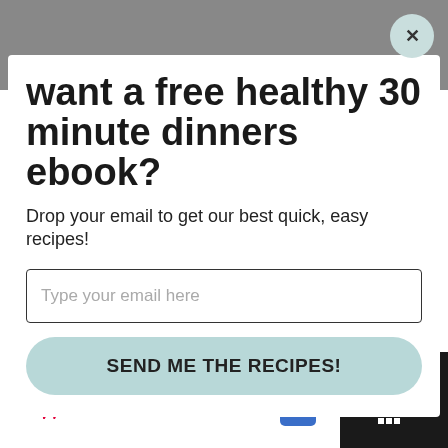want a free healthy 30 minute dinners ebook?
Drop your email to get our best quick, easy recipes!
Type your email here
SEND ME THE RECIPES!
your favorite pre cooked sausage (or pre
20321 Susan Leslie Dr, Ashburn
BOGO Free Select Vitamins